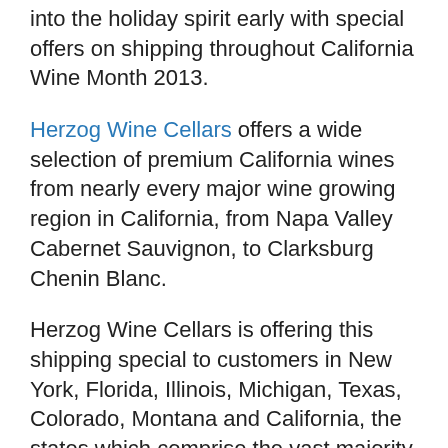into the holiday spirit early with special offers on shipping throughout California Wine Month 2013.
Herzog Wine Cellars offers a wide selection of premium California wines from nearly every major wine growing region in California, from Napa Valley Cabernet Sauvignon, to Clarksburg Chenin Blanc.
Herzog Wine Cellars is offering this shipping special to customers in New York, Florida, Illinois, Michigan, Texas, Colorado, Montana and California, the states which comprise the vast majority of their most loyal customers. Shipping to these regions will be paid on orders of twelve bottles or over $250 for specialist wine lovers buying vintages.
These savings can be better spent on trimmings for